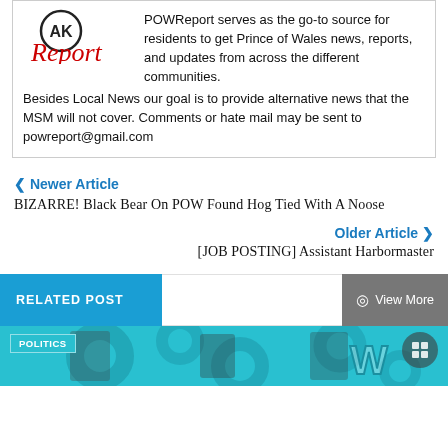[Figure (logo): AK Report logo with circle containing AK initials and red italic 'Report' text]
POWReport serves as the go-to source for residents to get Prince of Wales news, reports, and updates from across the different communities. Besides Local News our goal is to provide alternative news that the MSM will not cover. Comments or hate mail may be sent to powreport@gmail.com
❮ Newer Article
BIZARRE! Black Bear On POW Found Hog Tied With A Noose
Older Article ❯
[JOB POSTING] Assistant Harbormaster
RELATED POST
View More
[Figure (photo): Politics tagged image showing blue/teal patterned graphic with POLITICS label overlay]